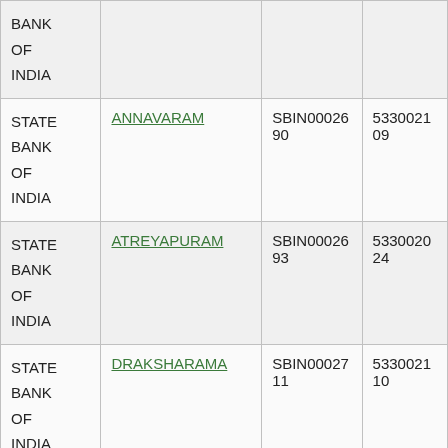| BANK OF INDIA |  |  |  |
| STATE BANK OF INDIA | ANNAVARAM | SBIN0002690 | 533002109 |
| STATE BANK OF INDIA | ATREYAPURAM | SBIN0002693 | 533002024 |
| STATE BANK OF INDIA | DRAKSHARAMA | SBIN0002711 | 533002110 |
| STATE | GOLLA MAMIDADA | SBIN0002720 | 533002111 |